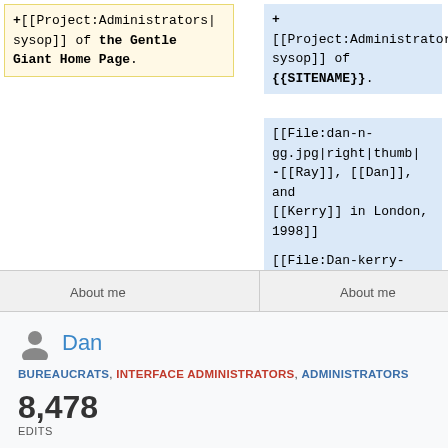[Figure (screenshot): Wiki diff view showing two columns. Left column has a yellow-highlighted box with wiki markup: +[[Project:Administrators|sysop]] of the Gentle Giant Home Page. Right column has blue-highlighted boxes with wiki markup: +[[Project:Administrators|sysop]] of {{SITENAME}}., [[File:dan-n-gg.jpg|right|thumb|-[[Ray]], [[Dan]], and [[Kerry]] in London, 1998]], [[File:Dan-kerry-gorgg-2013.jpg|right|thumb|[[Dan]] and [[Kerry]] in Chicago, 2013]]]
Dan
BUREAUCRATS, INTERFACE ADMINISTRATORS, ADMINISTRATORS
8,478 EDITS